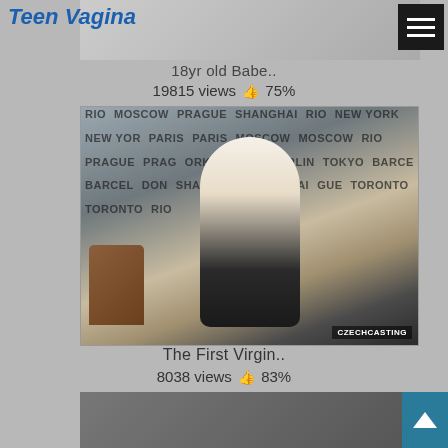Teen Vagina
[Figure (screenshot): Partial thumbnail at top]
18yr old Babe..
19815 views 👍 75%
[Figure (screenshot): Video thumbnail showing blonde woman sitting in front of city names backdrop (MOSCOW, PARIS, NEW YORK, BERLIN, SHANGHAI, TORONTO, etc.), with a brown bag to her left. Watermark: CZECHCASTING]
The First Virgin..
8038 views 👍 83%
[Figure (screenshot): Partial thumbnail at bottom]